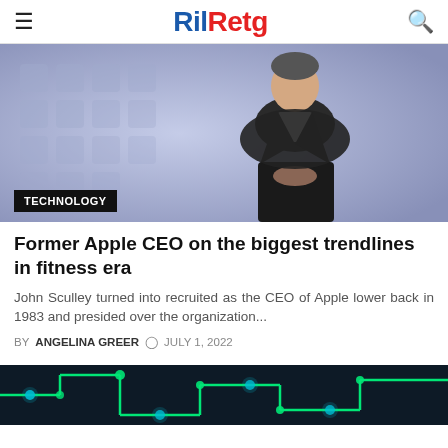RilRetg
[Figure (photo): A man in a dark blazer and white shirt seated against a blurred blue background with geometric shapes. A 'TECHNOLOGY' badge appears in the lower left.]
Former Apple CEO on the biggest trendlines in fitness era
John Sculley turned into recruited as the CEO of Apple lower back in 1983 and presided over the organization...
BY ANGELINA GREER  © JULY 1, 2022
[Figure (photo): Dark background with green circuit board lines and glowing nodes — a technology/electronics themed image.]